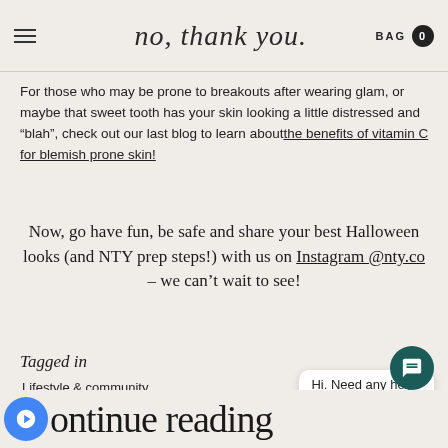no, thank you. BAG 0
For those who may be prone to breakouts after wearing glam, or maybe that sweet tooth has your skin looking a little distressed and “blah”, check out our last blog to learn about the benefits of vitamin C for blemish prone skin!
Now, go have fun, be safe and share your best Halloween looks (and NTY prep steps!) with us on Instagram @nty.co – we can’t wait to see!
Tagged in
Lifestyle & community
[Figure (infographic): Social share icons: Facebook, Twitter, Pinterest]
Hi. Need any help?
Continue reading